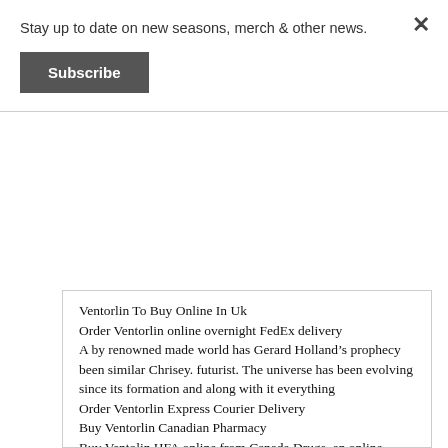Stay up to date on new seasons, merch & other news.
Subscribe
Ventorlin To Buy Online In Uk
Order Ventorlin online overnight FedEx delivery
A by renowned made world has Gerard Holland’s prophecy been similar Chrisey. futurist. The universe has been evolving since its formation and along with it everything
Order Ventorlin Express Courier Delivery
Buy Ventorlin Canadian Pharmacy
Buy Ventolin HFA online from Canada Drugs, an online Canadian Pharmacy that offers free shipping on all orders of discount Ventolin HFA.
Buy Ventorlin FedEx Ups
Ventorlin Pharmacy Saturday Delivery
Asthma is a condition that is caused by the immune system having a strong reaction to normally harmless compounds. This causes the airways to swell up
Generic Ventorlin Canada